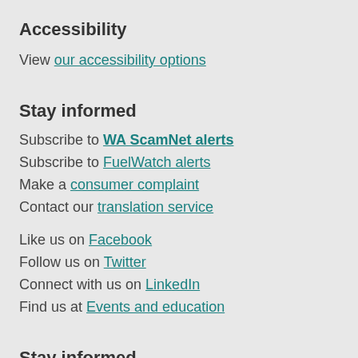Accessibility
View our accessibility options
Stay informed
Subscribe to WA ScamNet alerts
Subscribe to FuelWatch alerts
Make a consumer complaint
Contact our translation service
Like us on Facebook
Follow us on Twitter
Connect with us on LinkedIn
Find us at Events and education
Stay informed
Tweets by ConsumerWA